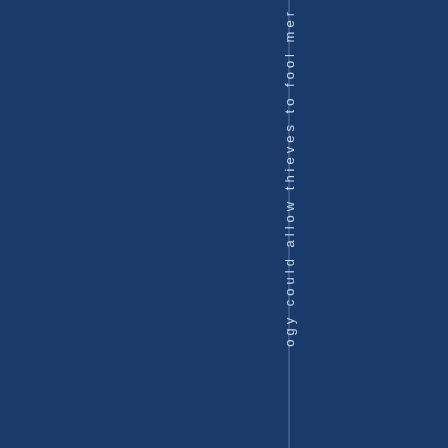[Figure (other): Dark navy blue page with a vertical strip near center-right containing vertically oriented text reading 'ogy could allow thieves to fool mer' (partial text, continuation from another page), rendered character by character in a light blue/white color on a dark blue background.]